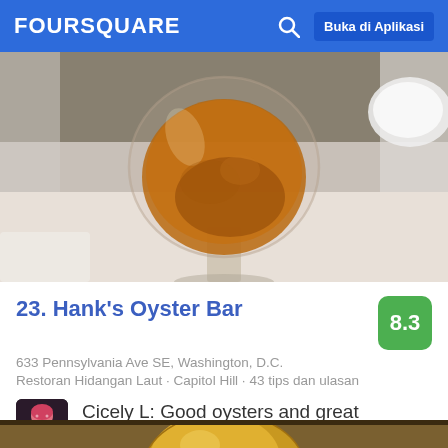FOURSQUARE   Buka di Aplikasi
[Figure (photo): Close-up photo of a large round brandy/wine glass filled with amber-brown liquid, on a white tablecloth, restaurant setting]
23. Hank's Oyster Bar
633 Pennsylvania Ave SE, Washington, D.C.
Restoran Hidangan Laut · Capitol Hill · 43 tips dan ulasan
Cicely L: Good oysters and great service!!
[Figure (photo): Partial view of a golden trophy or statue, bottom portion visible]